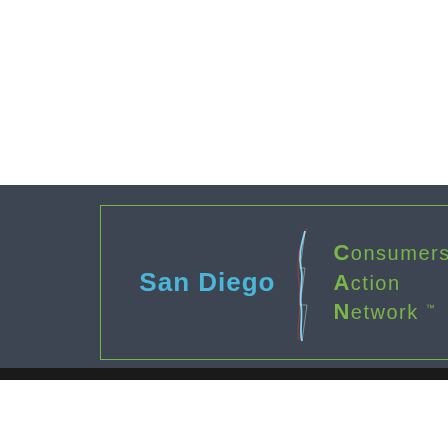[Figure (logo): San Diego Consumers Action Network (CAN) logo. Dark grey rectangular background with green border. Left side shows 'San Diego' in blue bold text. Center shows a stylized lightning bolt graphic in blue/white. Right side shows 'Consumers Action Network ™' stacked vertically in green text with large first letters (C, A, N).]